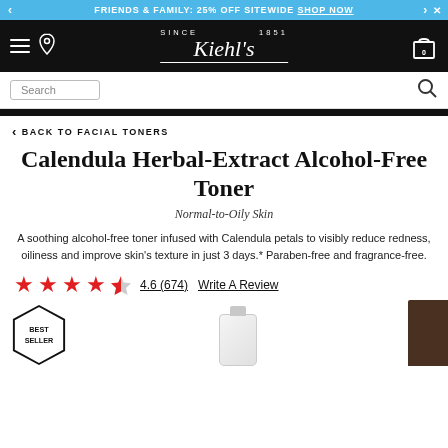FRIENDS & FAMILY: 25% OFF SITEWIDE SHOP NOW
[Figure (screenshot): Kiehl's navigation bar with hamburger menu, location pin icon, Kiehl's SINCE 1851 logo, and shopping cart icon with 0 items]
Search
< BACK TO FACIAL TONERS
Calendula Herbal-Extract Alcohol-Free Toner
Normal-to-Oily Skin
A soothing alcohol-free toner infused with Calendula petals to visibly reduce redness, oiliness and improve skin's texture in just 3 days.* Paraben-free and fragrance-free.
4.6 (674) Write A Review
[Figure (illustration): Best Seller hexagon badge, product bottle image in center, dark product image on right edge]